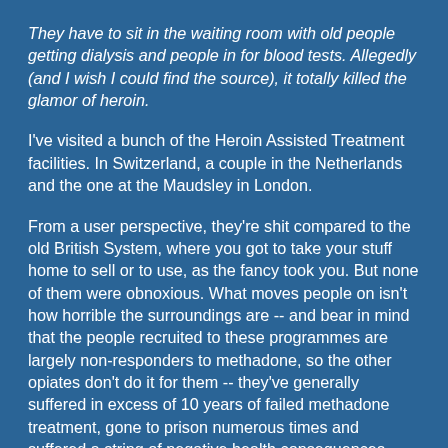They have to sit in the waiting room with old people getting dialysis and people in for blood tests. Allegedly (and I wish I could find the source), it totally killed the glamor of heroin.
I've visited a bunch of the Heroin Assisted Treatment facilities. In Switzerland, a couple in the Netherlands and the one at the Maudsley in London.
From a user perspective, they're shit compared to the old British System, where you got to take your stuff home to sell or to use, as the fancy took you. But none of them were obnoxious. What moves people on isn't how horrible the surroundings are -- and bear in mind that the people recruited to these programmes are largely non-responders to methadone, so the other opiates don't do it for them -- they've generally suffered in excess of 10 years of failed methadone treatment, gone to prison numerous times and suffered a string of negative health consequences.